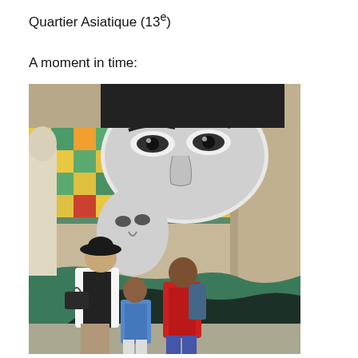Quartier Asiatique (13e)
A moment in time:
[Figure (photo): A photograph of three people (a woman and two children) walking in front of a large street mural on a building wall. The mural features a large black-and-white face (eyes and nose prominent), a smaller figure, and a colorful mosaic/tile pattern in green, yellow, and orange behind them. The woman wears a white jacket and black hat and carries a handbag. One child wears a red hoodie with a backpack, the other wears a blue denim jacket. The setting appears to be a Parisian street.]